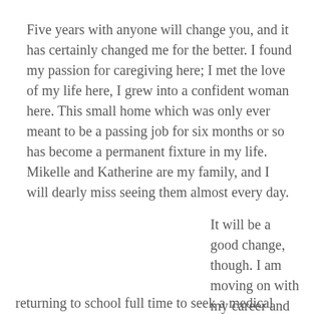Five years with anyone will change you, and it has certainly changed me for the better. I found my passion for caregiving here; I met the love of my life here, I grew into a confident woman here. This small home which was only ever meant to be a passing job for six months or so has become a permanent fixture in my life. Mikelle and Katherine are my family, and I will dearly miss seeing them almost every day.
It will be a good change, though. I am moving on with my career and my future by returning to school full time to seek a medical degree.